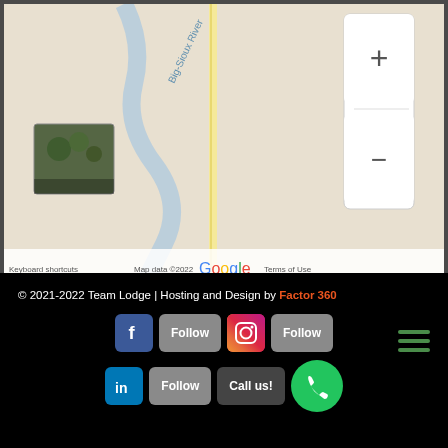[Figure (map): Google Maps partial view showing Big Sioux River area with zoom controls (+/-) and a satellite thumbnail. Bottom bar shows 'Keyboard shortcuts', 'Map data ©2022', 'Terms of Use'. Google logo visible in center.]
[Figure (infographic): Hamburger/menu icon with three green horizontal lines on light gray background]
© 2021-2022 Team Lodge | Hosting and Design by Factor 360
[Figure (infographic): Social media buttons row: Facebook (blue f icon) with Follow button, Instagram (gradient camera icon) with Follow button, LinkedIn (blue in icon) with Follow button, Call us! dark button, and green phone circle button]